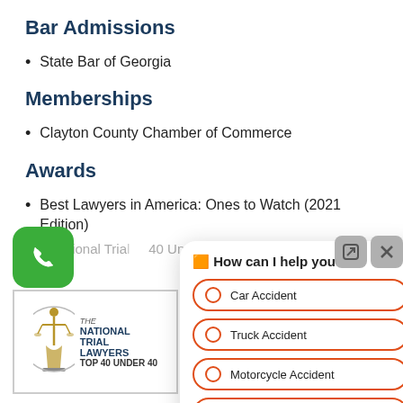Bar Admissions
State Bar of Georgia
Memberships
Clayton County Chamber of Commerce
Awards
Best Lawyers in America: Ones to Watch (2021 Edition)
The National Trial Lawyers: 40 Under 40
[Figure (logo): The National Trial Lawyers Top 40 Under 40 badge with scales of justice figure]
[Figure (screenshot): Chat widget overlay with header 'How can I help you?' and options: Car Accident, Truck Accident, Motorcycle Accident (partially visible fourth option)]
[Figure (screenshot): Green phone call button (rounded square)]
[Figure (screenshot): reCAPTCHA widget (partially visible)]